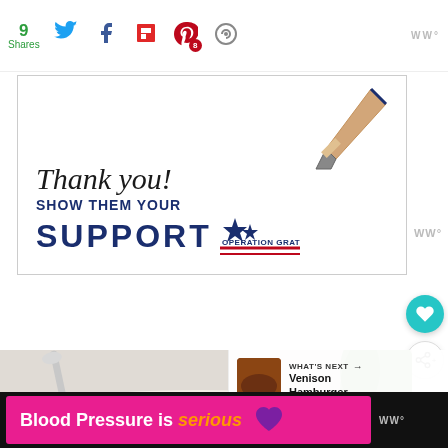9 Shares | social share icons: Twitter, Facebook, Flipboard, Pinterest (8), other
[Figure (infographic): Operation Gratitude advertisement: handwritten 'Thank you!' text with pencil, bold text 'SHOW THEM YOUR SUPPORT' with Operation Gratitude logo and American flag motif]
[Figure (photo): Food photo showing a creamy dish with a strawberry and spoon, likely a dessert dip or fondue]
WHAT'S NEXT → Venison Hamburger...
[Figure (infographic): Advertisement banner: pink/magenta background with white bold text 'Blood Pressure is' followed by orange italic 'serious' and a purple heart emoji]